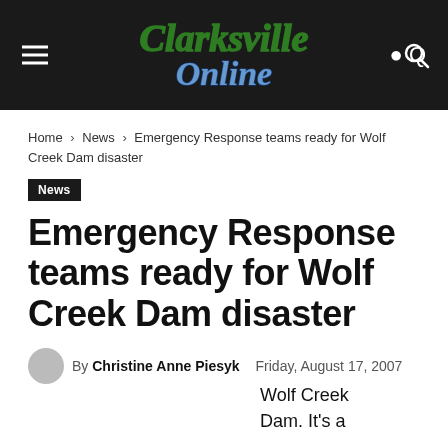[Figure (logo): Clarksville Online logo in green/blue script on dark background header bar]
Home › News › Emergency Response teams ready for Wolf Creek Dam disaster
News
Emergency Response teams ready for Wolf Creek Dam disaster
By Christine Anne Piesyk   Friday, August 17, 2007
Wolf Creek Dam. It's a